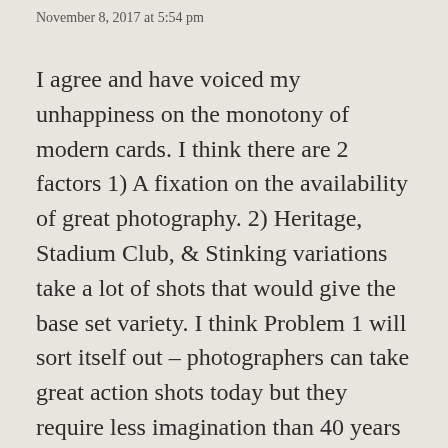November 8, 2017 at 5:54 pm
I agree and have voiced my unhappiness on the monotony of modern cards. I think there are 2 factors 1) A fixation on the availability of great photography. 2) Heritage, Stadium Club, & Stinking variations take a lot of shots that would give the base set variety. I think Problem 1 will sort itself out – photographers can take great action shots today but they require less imagination than 40 years ago. problem 2 is on topps. Put a couple of headshots from heritage in flagship.
I was just paging 2003T which isn't that old and was really surprised by the variety and quality of the pictures. There is no reason why